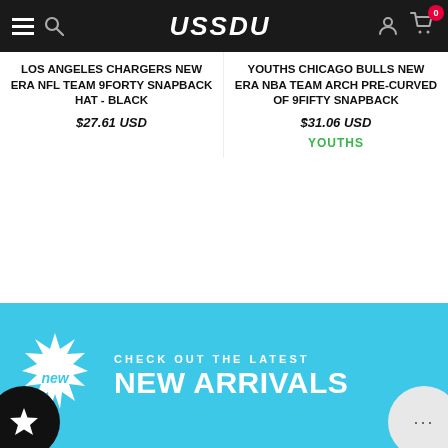USSDU
LOS ANGELES CHARGERS NEW ERA NFL TEAM 9FORTY SNAPBACK HAT - BLACK
$27.61 USD
YOUTHS CHICAGO BULLS NEW ERA NBA TEAM ARCH PRE-CURVED OF 9FIFTY SNAPBACK
$31.06 USD
YOUTHS
[Figure (infographic): Cyan banner with a white starburst badge labeled 'new' and the text 'CHECK OUT THE LATEST NEW ARRIVALS']